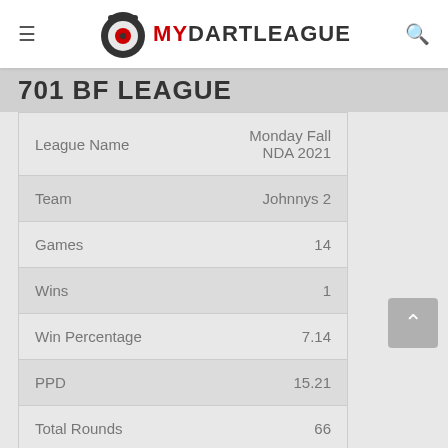MYDARTLEAGUE
701 BF LEAGUE
| League Name | Monday Fall NDA 2021 |
| Team | Johnnys 2 |
| Games | 14 |
| Wins | 1 |
| Win Percentage | 7.14 |
| PPD | 15.21 |
| Total Rounds | 66 |
| Total Points | 2965 |
| Total Darts | 195 |
| 6DO | 0 |